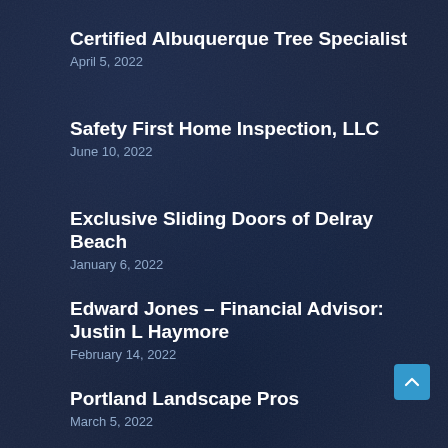Certified Albuquerque Tree Specialist
April 5, 2022
Safety First Home Inspection, LLC
June 10, 2022
Exclusive Sliding Doors of Delray Beach
January 6, 2022
Edward Jones – Financial Advisor: Justin L Haymore
February 14, 2022
Portland Landscape Pros
March 5, 2022